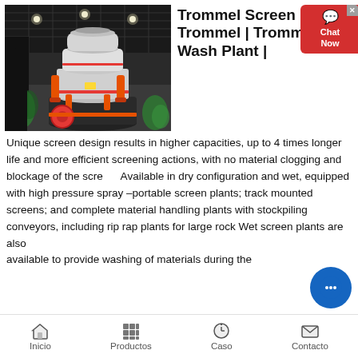[Figure (photo): Industrial cone crusher / trommel screen machine displayed in an exhibition hall with dark ceiling and lighting, surrounded by plants]
Trommel Screen | Gold Trommel | Trommel Wash Plant |
Unique screen design results in higher capacities, up to 4 times longer life and more efficient screening actions, with no material clogging and blockage of the screen. Available in dry configuration and wet, equipped with high pressure spray –portable screen plants; track mounted screens; and complete material handling plants with stockpiling conveyors, including rip rap plants for large rock Wet screen plants are also available to provide washing of materials during the
Inicio   Productos   Caso   Contacto